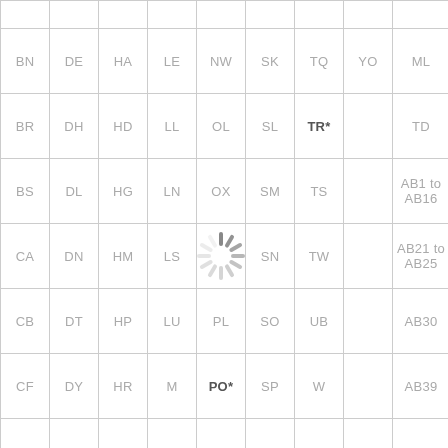|  |  |  |  |  |  |  |  |  |
| BN | DE | HA | LE | NW | SK | TQ | YO | ML |
| BR | DH | HD | LL | OL | SL | TR* |  | TD |
| BS | DL | HG | LN | OX | SM | TS |  | AB1 to AB16 |
| CA | DN | HM | LS |  | SN | TW |  | AB21 to AB25 |
| CB | DT | HP | LU | PL | SO | UB |  | AB30 |
| CF | DY | HR | M | PO* | SP | W |  | AB39 |
|  |  |  |  |  |  |  |  |  |